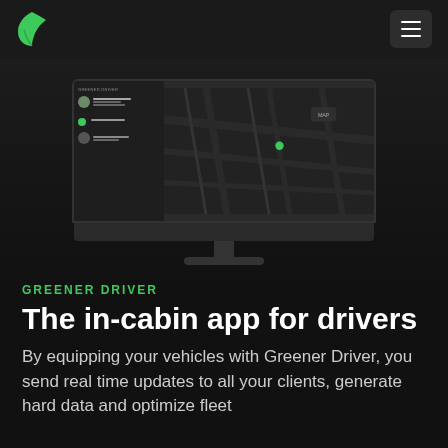Greener Driver logo and navigation menu
[Figure (screenshot): Dark-themed iMac monitor mockup displaying the Greener Driver in-cabin app interface with a sidebar showing driver/passenger entries and a dark map view on the right]
GREENER DRIVER
The in-cabin app for drivers
By equipping your vehicles with Greener Driver, you send real time updates to all your clients, generate hard data and optimize fleet